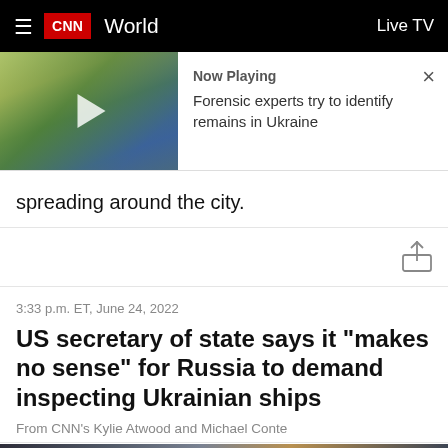≡  CNN  World  Live TV
[Figure (screenshot): Video thumbnail with play button showing a graveyard scene with Ukrainian flags and flowers]
Now Playing
Forensic experts try to identify remains in Ukraine
spreading around the city.
3:33 p.m. ET, June 24, 2022
US secretary of state says it "makes no sense" for Russia to demand inspecting Ukrainian ships
From CNN's Kylie Atwood and Michael Conte
[Figure (photo): Bottom strip showing a partial photo with flags and people]